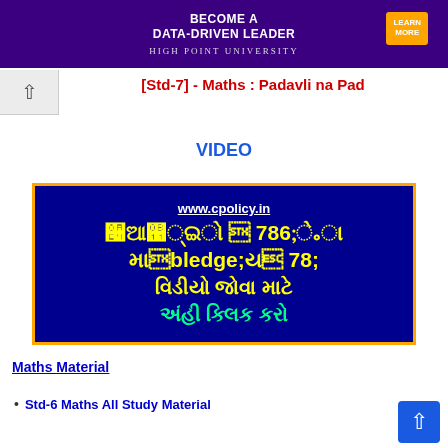[Figure (illustration): University advertisement banner: purple background with text 'BECOME A DATA-DRIVEN LEADER', 'HIGH POINT UNIVERSITY', and an orange 'LEARN MORE' button]
[Std-7] - Maths : Padavli na Pad
VIDEO
[Figure (other): Blue banner with orange border showing www.cpolicy.in and Gujarati text meaning 'To watch video click here']
Maths Material
Std-6 Maths All Study Material